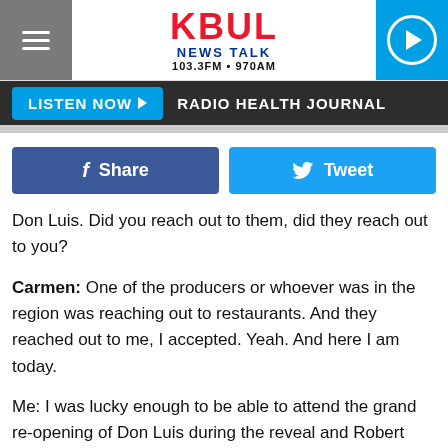[Figure (logo): KBUL News Talk 103.3FM 970AM radio station logo with hamburger menu on left and play button on right]
LISTEN NOW ▶  RADIO HEALTH JOURNAL
[Figure (screenshot): Facebook Share and Twitter Tweet social sharing buttons]
Don Luis. Did you reach out to them, did they reach out to you?
Carmen: One of the producers or whoever was in the region was reaching out to restaurants. And they reached out to me, I accepted. Yeah. And here I am today.
Me: I was lucky enough to be able to attend the grand re-opening of Don Luis during the reveal and Robert Irvine seemed like a genuinely nice person. You obviously spent a lot of time with him... did you get the same impression?